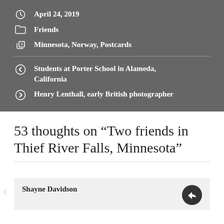April 24, 2019
Friends
Minnesota, Norway, Postcards
Students at Porter School in Alameda, California
Henry Lenthall, early British photographer
53 thoughts on “Two friends in Thief River Falls, Minnesota”
Shayne Davidson